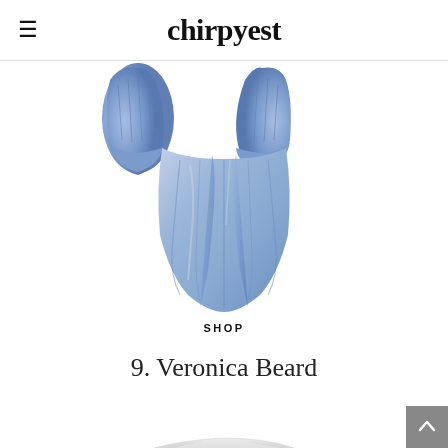chirpyest
[Figure (photo): A light periwinkle-blue satin off-shoulder blouse/top with voluminous ruched sleeves and a flowing, pleated body with a front tie detail, photographed on a white background.]
SHOP
9. Veronica Beard
[Figure (photo): Bottom portion of another clothing item, partially visible at the bottom edge of the page, white/light colored.]